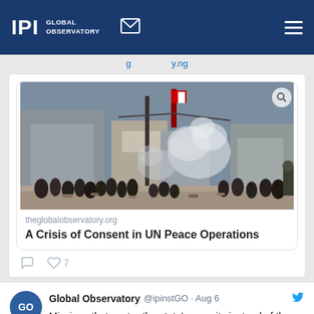IPI GLOBAL OBSERVATORY
theglobalobservatory.org — A Crisis of Consent in UN Peace Operations
[Figure (photo): Street scene showing a large crowd in a conflict zone with smoke/tear gas, buildings in background, soldiers or security forces visible]
theglobalobservatory.org
A Crisis of Consent in UN Peace Operations
7 likes
Global Observatory @ipinstGO · Aug 6
Missions that center the state's security instead of the will & safety of people make local solutions more distant & make